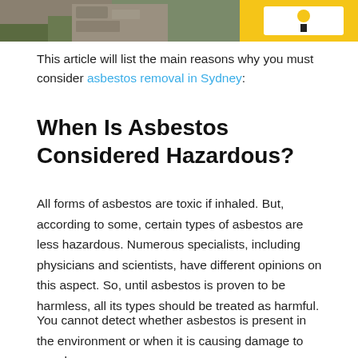[Figure (photo): Top portion of an outdoor photo showing a yellow and white warning sign near a stone wall with foliage, partially cropped at the top of the page.]
This article will list the main reasons why you must consider asbestos removal in Sydney:
When Is Asbestos Considered Hazardous?
All forms of asbestos are toxic if inhaled. But, according to some, certain types of asbestos are less hazardous. Numerous specialists, including physicians and scientists, have different opinions on this aspect. So, until asbestos is proven to be harmless, all its types should be treated as harmful.
You cannot detect whether asbestos is present in the environment or when it is causing damage to your lungs.